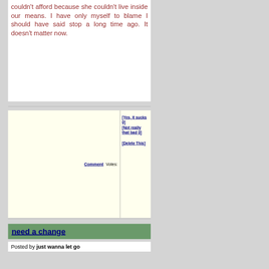couldn't afford because she couldn't live inside our means. I have only myself to blame I should have said stop a long time ago. It doesn't matter now.
Comment  Votes: [Yes, it sucks 0] [Not really that bad 0] [Delete This]
need a change
Posted by just wanna let go